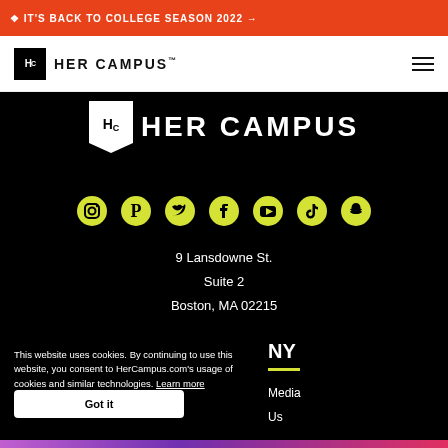✦ IT'S BACK TO COLLEGE SEASON 2022 →
[Figure (logo): Her Campus logo in white navigation bar with HC icon box and hamburger menu]
[Figure (logo): Her Campus logo in dark/black background section - large white text with HC pennant icon]
[Figure (infographic): Row of social media icons in yellow/chartreuse: Instagram, Pinterest, Twitter, Facebook, YouTube, TikTok, Snapchat]
9 Lansdowne St.
Suite 2
Boston, MA 02215
This website uses cookies. By continuing to use this website, you consent to HerCampus.com's usage of cookies and similar technologies. Learn more
Got it
NY
Media
Us
[Figure (infographic): Generation Hired advertisement banner - Join Generation Hired, your virtual career center]